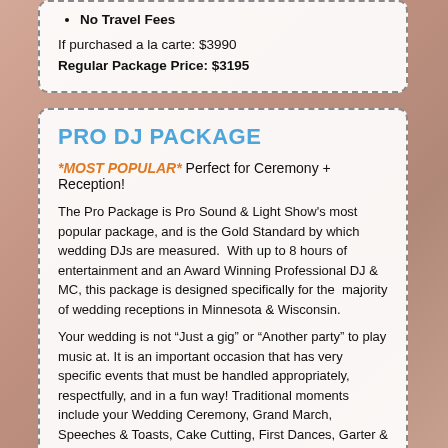No Travel Fees
If purchased a la carte: $3990
Regular Package Price: $3195
PRO DJ PACKAGE
*MOST POPULAR* Perfect for Ceremony + Reception!
The Pro Package is Pro Sound & Light Show’s most popular package, and is the Gold Standard by which wedding DJs are measured.  With up to 8 hours of entertainment and an Award Winning Professional DJ & MC, this package is designed specifically for the  majority of wedding receptions in Minnesota & Wisconsin.
Your wedding is not “Just a gig” or “Another party” to play music at. It is an important occasion that has very specific events that must be handled appropriately, respectfully, and in a fun way! Traditional moments include your Wedding Ceremony, Grand March, Speeches & Toasts, Cake Cutting, First Dances, Garter & Bouquet Toss, Dollar